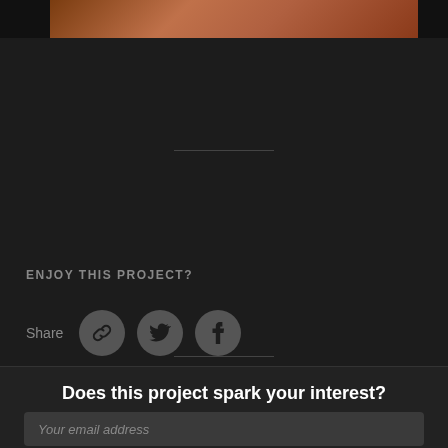[Figure (photo): Partial view of a reddish-brown wooden or earthy surface, cropped at the top of the page]
ENJOY THIS PROJECT?
Share
[Figure (infographic): Three circular social sharing icons: a chain/link icon, a Twitter bird icon, and a Facebook 'f' icon, each on a gray circle background]
Does this project spark your interest?
Become a member to follow this project and never miss any updates
Your email address